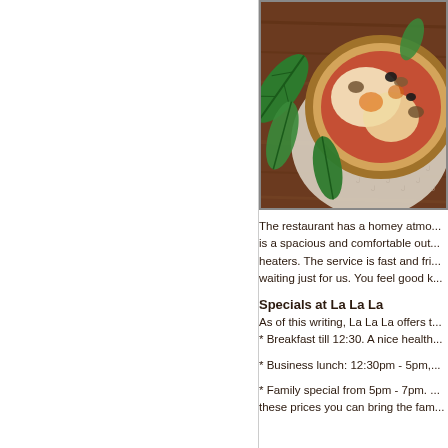[Figure (photo): Overhead photo of a pizza with basil leaves on a wooden board with patterned paper, partially cropped]
The restaurant has a homey atmo... is a spacious and comfortable out... heaters. The service is fast and fri... waiting just for us. You feel good k...
Specials at La La La
As of this writing, La La La offers t...
* Breakfast till 12:30. A nice health...
* Business lunch: 12:30pm - 5pm,...
* Family special from 5pm - 7pm. ... these prices you can bring the fam...